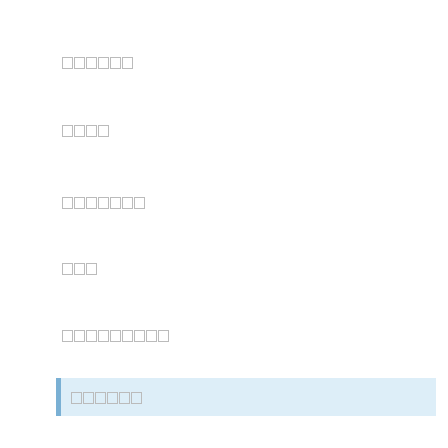██████
████
███████
███
█████████
██████
████████████████
█████████████████
█████████